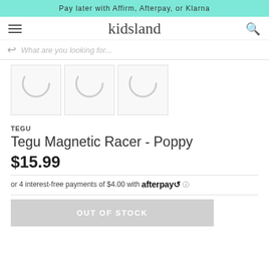Pay later with Affirm, Afterpay, or Klarna
kidsland
[Figure (screenshot): Product image thumbnails loading (3 visible thumbnail placeholders with loading spinner arcs)]
TEGU
Tegu Magnetic Racer - Poppy
$15.99
or 4 interest-free payments of $4.00 with afterpay ℹ
OUT OF STOCK